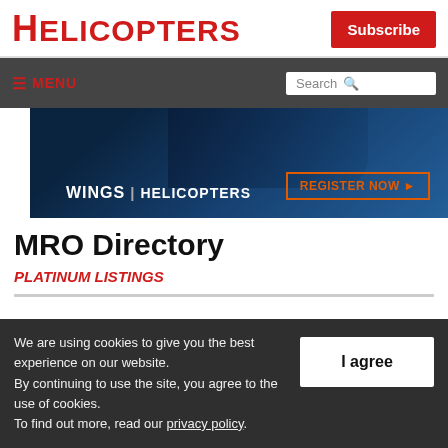HELICOPTERS
Subscribe
MENU | Search
[Figure (screenshot): Banner advertisement for WINGS | HELICOPTERS event with dark blue background and a 'REGISTER NOW' button with orange border]
MRO Directory
PLATINUM LISTINGS
We are using cookies to give you the best experience on our website. By continuing to use the site, you agree to the use of cookies. To find out more, read our privacy policy.
I agree